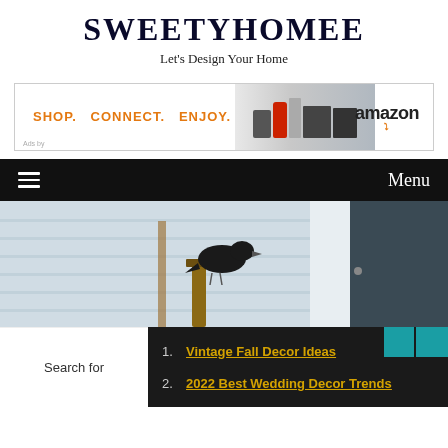SWEETYHOMEE
Let's Design Your Home
[Figure (screenshot): Amazon advertisement banner: SHOP. CONNECT. ENJOY. with product images and amazon logo]
Menu
[Figure (photo): A black bird perched on a wooden post, with a grey door in background]
Search for
1. Vintage Fall Decor Ideas
2. 2022 Best Wedding Decor Trends